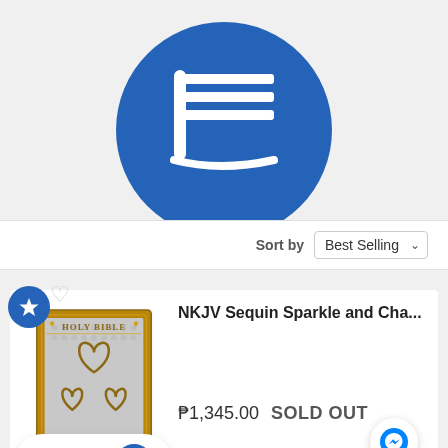[Figure (logo): Blue circle logo with white book/pages icon, partially cropped at top]
Sort by   Best Selling
[Figure (photo): Holy Bible product image with gold and silver sequin sparkle heart design cover]
NKJV Sequin Sparkle and Cha...
₱1,345.00 SOLD OUT
REWARDS
[Figure (logo): Facebook Messenger blue circle button icon]
[Figure (logo): Rewards blue circle icon with gift/cake symbol]